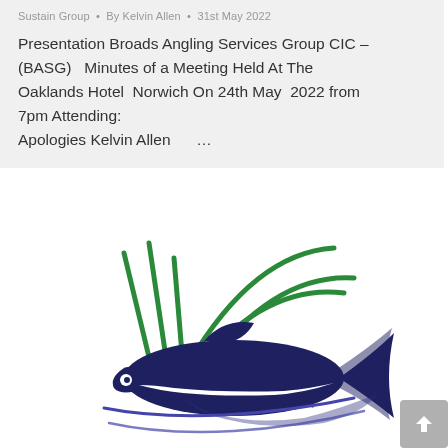Sustain Group • By Kelvin Allen • 31st May 2022
Presentation Broads Angling Services Group CIC – (BASG)  Minutes of a Meeting Held At The Oaklands Hotel  Norwich On 24th May  2022 from 7pm Attending:
Apologies Kelvin Allen     ...
[Figure (logo): BASG logo: a dark navy blue stylized fish with white stripe, with green reed/grass strokes above it, on a white background.]